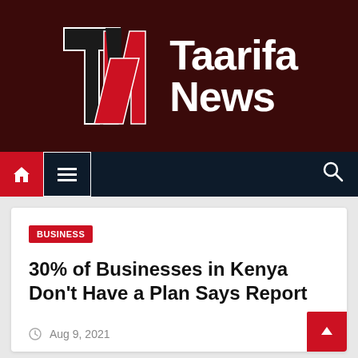[Figure (logo): Taarifa News logo — dark red banner with TN monogram icon and white bold text 'Taarifa News']
Navigation bar with home icon, menu icon, and search icon
BUSINESS
30% of Businesses in Kenya Don't Have a Plan Says Report
Aug 9, 2021